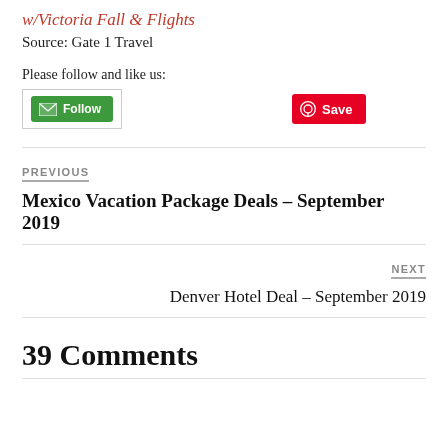w/Victoria Fall & Flights
Source: Gate 1 Travel
Please follow and like us:
[Figure (other): Follow email button and Pinterest Save button]
PREVIOUS
Mexico Vacation Package Deals – September 2019
NEXT
Denver Hotel Deal – September 2019
39 Comments